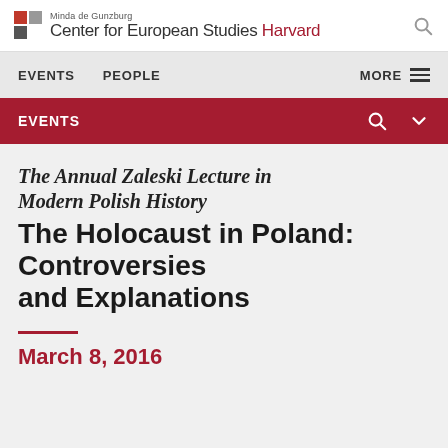Minda de Gunzburg Center for European Studies Harvard
EVENTS  PEOPLE  MORE
EVENTS
The Annual Zaleski Lecture in Modern Polish History
The Holocaust in Poland: Controversies and Explanations
March 8, 2016